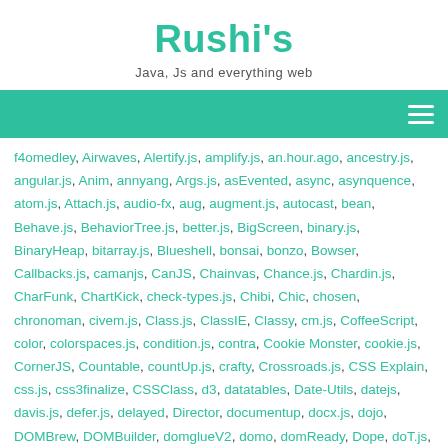Rushi's
Java, Js and everything web
f4omedley, Airwaves, Alertify.js, amplify.js, an.hour.ago, ancestry.js, angular.js, Anim, annyang, Args.js, asEvented, async, asynquence, atom.js, Attach.js, audio-fx, aug, augment.js, autocast, bean, Behave.js, BehaviorTree.js, better.js, BigScreen, binary.js, BinaryHeap, bitarray.js, Blueshell, bonsai, bonzo, Bowser, Callbacks.js, camanjs, CanJS, Chainvas, Chance.js, Chardin.js, CharFunk, ChartKick, check-types.js, Chibi, Chic, chosen, chronoman, civem.js, Class.js, ClassIE, Classy, cm.js, CoffeeScript, color, colorspaces.js, condition.js, contra, Cookie Monster, cookie.js, CornerJS, Countable, countUp.js, crafty, Crossroads.js, CSS Explain, css.js, css3finalize, CSSClass, d3, datatables, Date-Utils, datejs, davis.js, defer.js, delayed, Director, documentup, docx.js, dojo, DOMBrew, DOMBuilder, domglueV2, domo, domReady, Dope, doT.js, DragDrop, DragValue, dropbox.js, Dropzone.js, dust, dviz, dygraph, Echo.js, EditrJS, ember.js, Emile, Ender Jeesh, enquire.js, environ, ES6 Shim, ES6-Map-Shim, EventEmitter, Events.js, expando-js, extend.js, extract-values, Fabric.js, Fayer, Fermata, filesize.js, Firmin, flatdoc, flippant.js, flot, formatter.js, Frozen, FullscreenLayoutPageTransitions, functools, Fuse.js, fuzzy.js, galleria, gas, Gator, genie, gloomy, gowiththeflow.js, graphael, Grappel